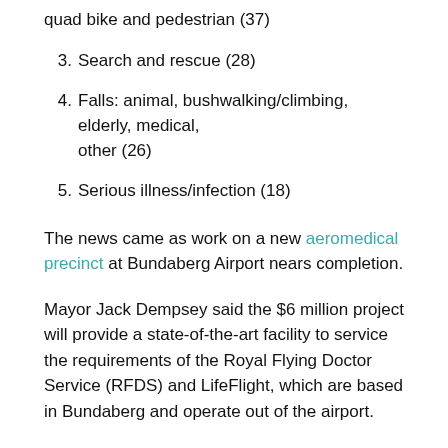quad bike and pedestrian (37)
3. Search and rescue (28)
4. Falls: animal, bushwalking/climbing, elderly, medical, other (26)
5. Serious illness/infection (18)
The news came as work on a new aeromedical precinct at Bundaberg Airport nears completion.
Mayor Jack Dempsey said the $6 million project will provide a state-of-the-art facility to service the requirements of the Royal Flying Doctor Service (RFDS) and LifeFlight, which are based in Bundaberg and operate out of the airport.
“The new centre will ensure the best possible treatment for patients utilising these services as well as providing medical equipment storage areas and modern aircraft maintenance